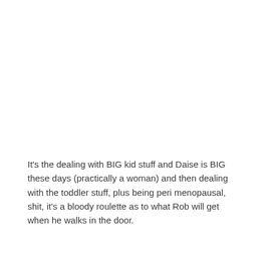It's the dealing with BIG kid stuff and Daise is BIG these days (practically a woman) and then dealing with the toddler stuff, plus being peri menopausal, shit, it's a bloody roulette as to what Rob will get when he walks in the door.